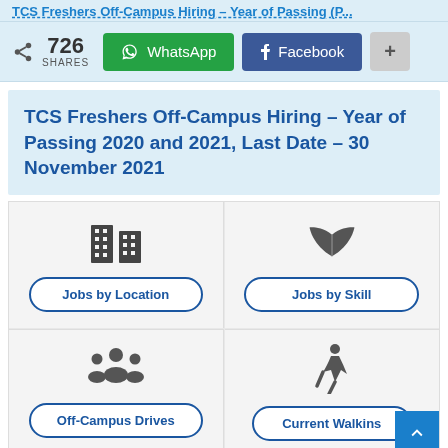TCS Freshers Off-Campus Hiring – Year of Passing (Page...)
726 SHARES | WhatsApp | Facebook | +
TCS Freshers Off-Campus Hiring – Year of Passing 2020 and 2021, Last Date – 30 November 2021
[Figure (infographic): 2x2 grid of navigation boxes: Jobs by Location (building icon), Jobs by Skill (open book icon), Off-Campus Drives (group of people icon), Current Walkins (walking person icon)]